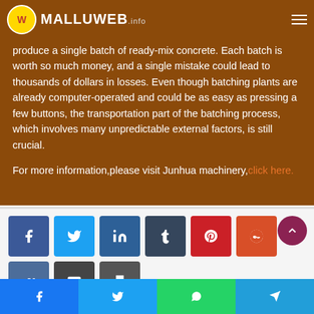MALLUWEB.INFO
produce a single batch of ready-mix concrete. Each batch is worth so much money, and a single mistake could lead to thousands of dollars in losses. Even though batching plants are already computer-operated and could be as easy as pressing a few buttons, the transportation part of the batching process, which involves many unpredictable external factors, is still crucial.
For more information,please visit Junhua machinery, click here.
[Figure (other): Social media share buttons: Facebook, Twitter, LinkedIn, Tumblr, Pinterest, Reddit, VK, Email, Print]
Bottom social share bar: Facebook, Twitter, WhatsApp, Telegram